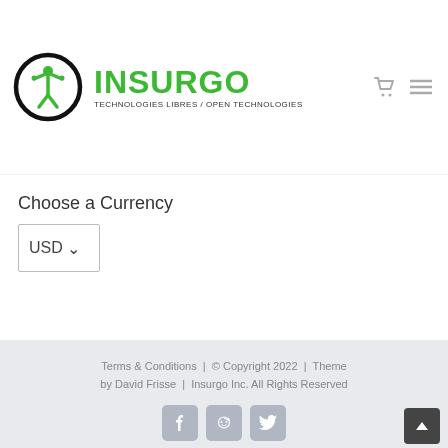[Figure (logo): Insurgo Technologies Libres / Open Technologies logo with circular person icon and green INSURGO text]
Choose a Currency
USD
Terms & Conditions  |  © Copyright 2022  |  Theme by David Frisse  |  Insurgo Inc. All Rights Reserved